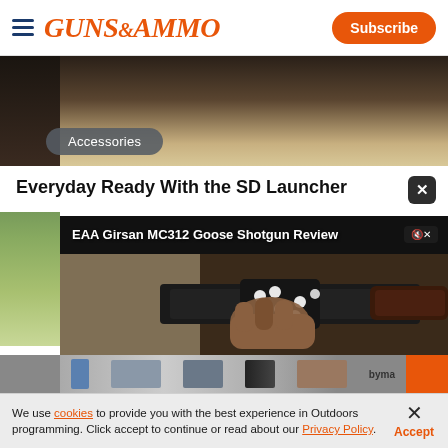GUNS&AMMO | Subscribe
[Figure (photo): Hero image area with Accessories badge overlay]
Accessories
Everyday Ready With the SD Launcher
[Figure (screenshot): Embedded video player showing 'EAA Girsan MC312 Goose Shotgun Review' with video controls showing 00:00 / 02:23]
We use cookies to provide you with the best experience in Outdoors programming. Click accept to continue or read about our Privacy Policy.